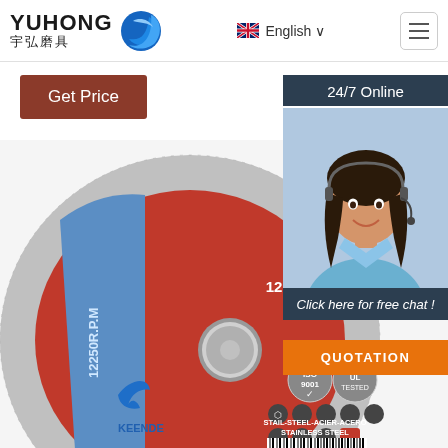[Figure (logo): YUHONG 宇弘磨具 logo with blue wave/shark icon]
English ∨
Get Price
24/7 Online
[Figure (photo): Customer service agent woman with headset smiling]
Click here for free chat !
QUOTATION
[Figure (photo): 5 inch cutting disc T41 A46SBF 125x1.0x22.2mm R.P.M 12250 for stainless steel, KEENDEE brand, red and blue design, showing certification logos and material icons]